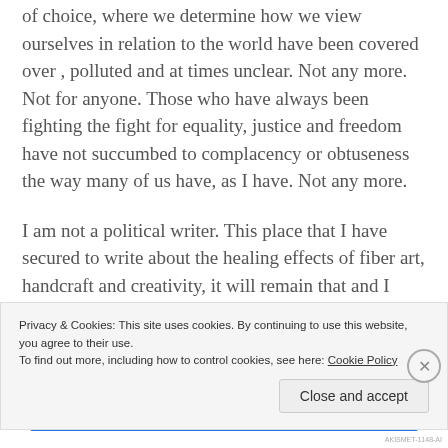of choice, where we determine how we view ourselves in relation to the world have been covered over , polluted and at times unclear. Not any more. Not for anyone. Those who have always been fighting the fight for equality, justice and freedom have not succumbed to complacency or obtuseness the way many of us have, as I have. Not any more.
I am not a political writer. This place that I have secured to write about the healing effects of fiber art, handcraft and creativity, it will remain that and I love that, but occasionally I may have to refer to what's going on here and around the world from my little vantage point. All I do
Privacy & Cookies: This site uses cookies. By continuing to use this website, you agree to their use.
To find out more, including how to control cookies, see here: Cookie Policy